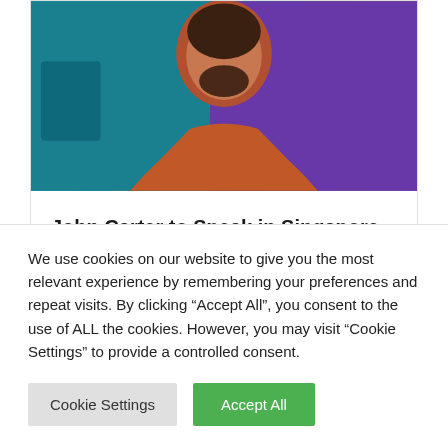[Figure (photo): Photo of a man with a beard wearing an orange/rust colored shirt, with a teal/blue background]
John Carter to Speak in Singapore
Category: News
We use cookies on our website to give you the most relevant experience by remembering your preferences and repeat visits. By clicking “Accept All”, you consent to the use of ALL the cookies. However, you may visit “Cookie Settings” to provide a controlled consent.